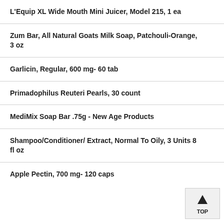L'Equip XL Wide Mouth Mini Juicer, Model 215, 1 ea
Zum Bar, All Natural Goats Milk Soap, Patchouli-Orange, 3 oz
Garlicin, Regular, 600 mg- 60 tab
Primadophilus Reuteri Pearls, 30 count
MediMix Soap Bar .75g - New Age Products
Shampoo/Conditioner/ Extract, Normal To Oily, 3 Units 8 fl oz
Apple Pectin, 700 mg- 120 caps